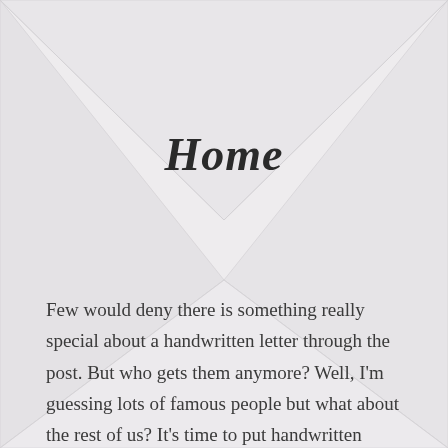[Figure (illustration): Background image of a white envelope with diagonal fold lines forming a diamond/V pattern in the center, on a light grey textured surface.]
Home
Few would deny there is something really special about a handwritten letter through the post. But who gets them anymore? Well, I'm guessing lots of famous people but what about the rest of us? It's time to put handwritten letters back on the map for everyone! Imagine a funny, moving, insightful, beautiful handwritten letter through your door. How